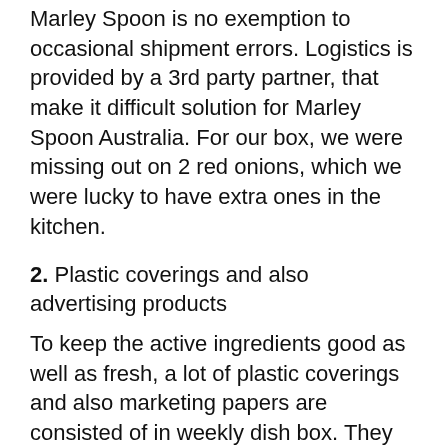Marley Spoon is no exemption to occasional shipment errors. Logistics is provided by a 3rd party partner, that make it difficult solution for Marley Spoon Australia. For our box, we were missing out on 2 red onions, which we were lucky to have extra ones in the kitchen.
2. Plastic coverings and also advertising products
To keep the active ingredients good as well as fresh, a lot of plastic coverings and also marketing papers are consisted of in weekly dish box. They are all reusable, however the boxes do gather rapidly obtains a little frustrating in time. This coincides instance for HelloFresh. If you are trying to find